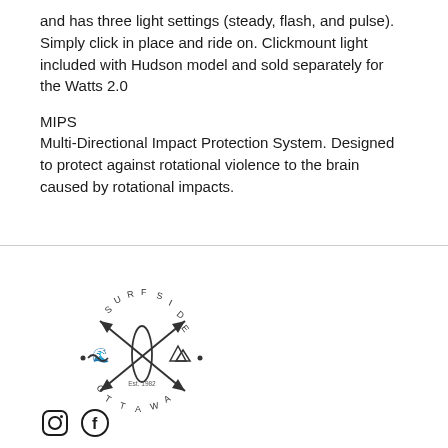and has three light settings (steady, flash, and pulse). Simply click in place and ride on. Clickmount light included with Hudson model and sold separately for the Watts 2.0
MIPS
Multi-Directional Impact Protection System. Designed to protect against rotational violence to the brain caused by rotational impacts.
[Figure (logo): Surf Side Ottawa circular logo with crossed arrows, wave and mountain icons, Est. 1982]
[Figure (logo): Instagram and Facebook social media icons]